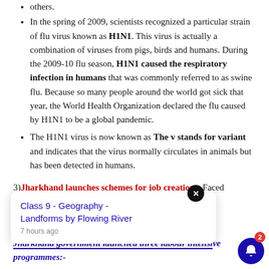others.
In the spring of 2009, scientists recognized a particular strain of flu virus known as H1N1. This virus is actually a combination of viruses from pigs, birds and humans. During the 2009-10 flu season, H1N1 caused the respiratory infection in humans that was commonly referred to as swine flu. Because so many people around the world got sick that year, the World Health Organization declared the flu caused by H1N1 to be a global pandemic.
The H1N1 virus is now known as The v stands for variant and indicates that the virus normally circulates in animals but has been detected in humans.
3) Jharkhand launches schemes for job creation:- Faced ... e of ... al of large scale ... s, the Jharkhand government launched three labour intensive programmes:-
Class 9 - Geography - Landforms by Flowing River
7 hours ago